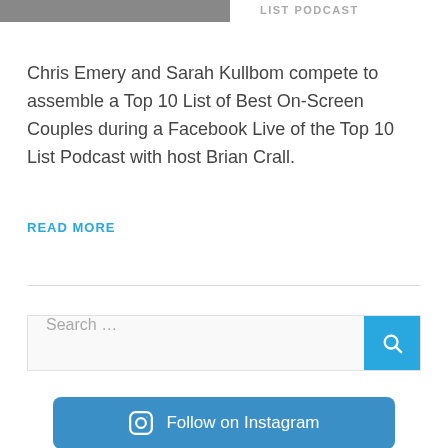[Figure (photo): Partial photo of people at top left of page]
LIST PODCAST
Chris Emery and Sarah Kullbom compete to assemble a Top 10 List of Best On-Screen Couples during a Facebook Live of the Top 10 List Podcast with host Brian Crall.
READ MORE
[Figure (other): Horizontal divider line]
Search …
Follow on Instagram